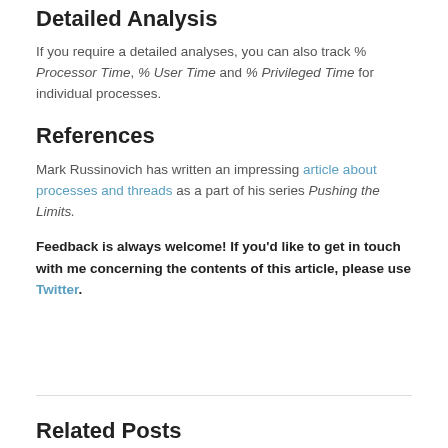Detailed Analysis
If you require a detailed analyses, you can also track % Processor Time, % User Time and % Privileged Time for individual processes.
References
Mark Russinovich has written an impressing article about processes and threads as a part of his series Pushing the Limits.
Feedback is always welcome! If you'd like to get in touch with me concerning the contents of this article, please use Twitter.
Related Posts
#Recurse all the things: Automated...